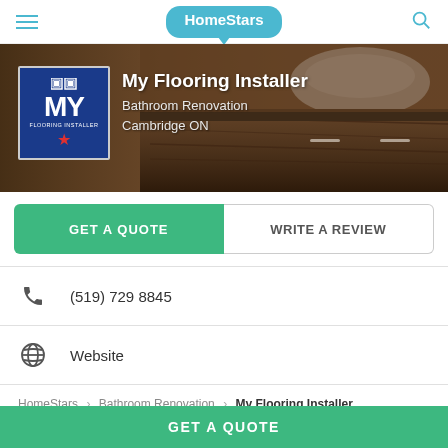HomeStars
[Figure (screenshot): Hero banner image showing a bathroom vanity with dark wood cabinet and white basin bowl, overlaid with the My Flooring Installer company logo (blue square with MY text and maple leaf) and business name text.]
My Flooring Installer
Bathroom Renovation
Cambridge ON
GET A QUOTE
WRITE A REVIEW
(519) 729 8845
Website
HomeStars > Bathroom Renovation > My Flooring Installer
GET A QUOTE